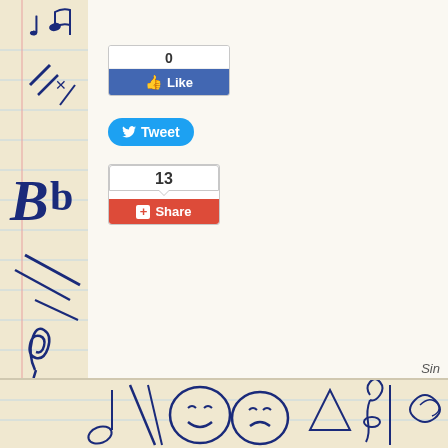[Figure (illustration): Left decorative border with music and drama doodles (treble clef, musical notes, theater masks, Bb text) on lined paper background]
[Figure (screenshot): Facebook Like button widget showing count of 0 and blue Like button with thumbs up icon]
[Figure (screenshot): Twitter Tweet button - blue rounded button with bird icon and Tweet text]
[Figure (screenshot): Google Plus Share button widget showing count of 13 and red Share button with plus icon]
Sin
[Figure (illustration): Bottom decorative border strip with music and drama doodles - theater masks, treble clef, musical notes]